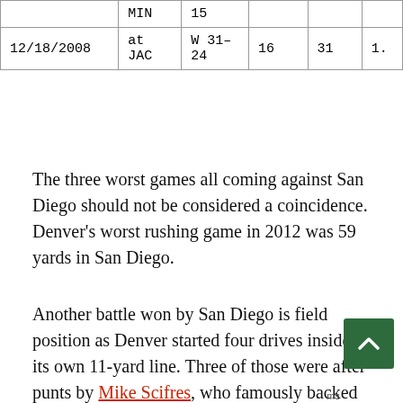|  |  |  |  |  |  |
| --- | --- | --- | --- | --- | --- |
|  | MIN | 15 |  |  |  |
| 12/18/2008 | at JAC | W 31-24 | 16 | 31 | 1. |
The three worst games all coming against San Diego should not be considered a coincidence. Denver's worst rushing game in 2012 was 59 yards in San Diego.
Another battle won by San Diego is field position as Denver started four drives inside its own 11-yard line. Three of those were after punts by Mike Scifres, who famously backed up Manning's offense five times inside the 10 in a 2008 Wild Card playoff game.
The epic punt drive backed Denver up to its own 11-yard line, but Manning finally got the offense back on track with precision not seen since the opening-